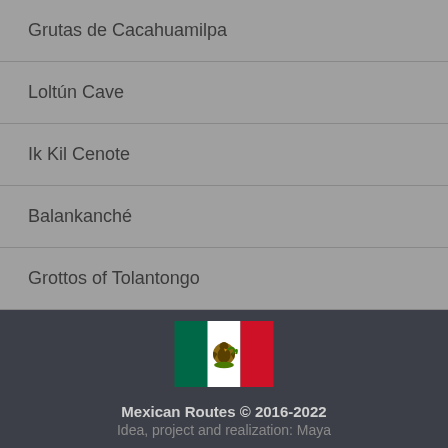Grutas de Cacahuamilpa
Loltún Cave
Ik Kil Cenote
Balankanché
Grottos of Tolantongo
[Figure (illustration): Mexican flag with green, white, and red vertical stripes and the national coat of arms in the center]
Mexican Routes © 2016-2022
Idea, project and realization: Maya